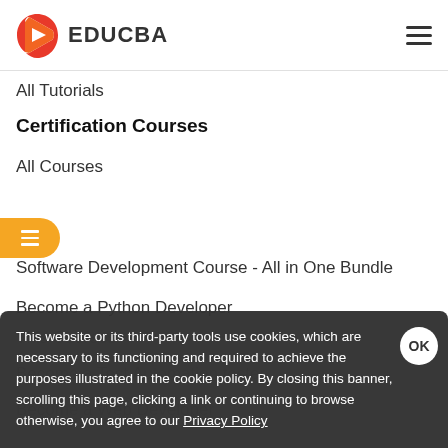[Figure (logo): EDUCBA logo with red/orange play button icon and text EDUCBA]
All Tutorials
Certification Courses
All Courses
Software Development Course - All in One Bundle
Become a Python Developer
This website or its third-party tools use cookies, which are necessary to its functioning and required to achieve the purposes illustrated in the cookie policy. By closing this banner, scrolling this page, clicking a link or continuing to browse otherwise, you agree to our Privacy Policy